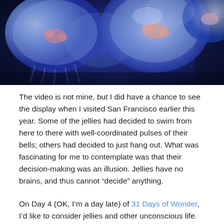[Figure (photo): Close-up photograph of blue jellyfish (moon jellies) in dark water, glowing translucent blue with pink/orange accents at their centers]
The video is not mine, but I did have a chance to see the display when I visited San Francisco earlier this year. Some of the jellies had decided to swim from here to there with well-coordinated pulses of their bells; others had decided to just hang out. What was fascinating for me to contemplate was that their decision-making was an illusion. Jellies have no brains, and thus cannot “decide” anything.
On Day 4 (OK, I’m a day late) of 31 Days of Wonder, I’d like to consider jellies and other unconscious life.
I’ve written before about how consciousness is a matter of